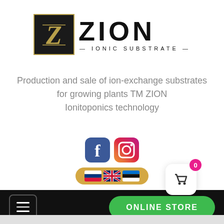[Figure (logo): ZION Ionic Substrate logo — black square with golden Z letter, bold ZION text with ionic substrate tagline]
Production and sale of ion-exchange substrates for growing plants TM ZION
Ionitoponics technology
[Figure (infographic): Social media icons (Facebook and Instagram) with language selector bar showing Russian, British, and Estonian flags]
[Figure (screenshot): Navigation bar with hamburger menu button and ONLINE STORE button, plus shopping cart widget showing 0 items]